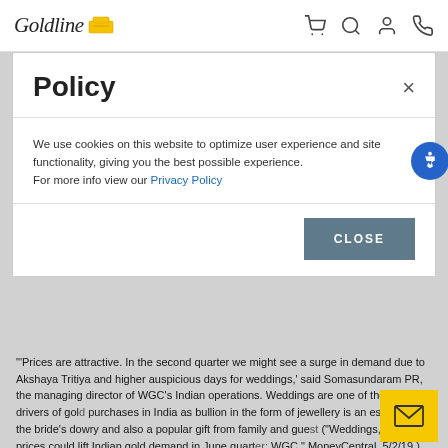Goldline [logo with gold bar icon] | navigation icons: cart, search, account, phone
demand from central banks boosts gold market," The Telegraph, 5/2/19.)
India Buying Expected to Raise Gold Prices
Policy
We use cookies on this website to optimize user experience and site functionality, giving you the best possible experience. For more info view our Privacy Policy
CLOSE
'Prices are attractive. In the second quarter we might see a surge in demand due to Akshaya Tritiya and higher auspicious days for weddings,' said Somasundaram PR, the managing director of WGC's Indian operations. Weddings are one of the biggest drivers of gold purchases in India as bullion in the form of jewellery is an essential part of the bride's dowry and also a popular gift from family and guests. ("Weddings, lower prices could lift Indian gold demand in June quarter: WGC," MoneyCentral, 5/2/19.)